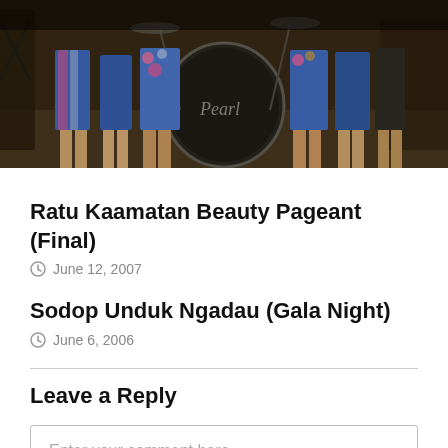[Figure (photo): A band performing on stage. Visible are people in floral outfits, a Pearl drum kit in the center, and various musical equipment. The photo shows the lower body/legs of performers.]
Ratu Kaamatan Beauty Pageant (Final)
June 12, 2007
Sodop Unduk Ngadau (Gala Night)
June 6, 2006
Leave a Reply
Enter your comment here...